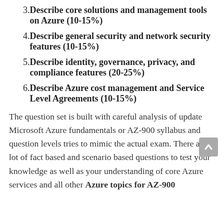3. Describe core solutions and management tools on Azure (10-15%)
4. Describe general security and network security features (10-15%)
5. Describe identity, governance, privacy, and compliance features (20-25%)
6. Describe Azure cost management and Service Level Agreements (10-15%)
The question set is built with careful analysis of update Microsoft Azure fundamentals or AZ-900 syllabus and question levels tries to mimic the actual exam. There are a lot of fact based and scenario based questions to test your knowledge as well as your understanding of core Azure services and all other Azure topics for AZ-900